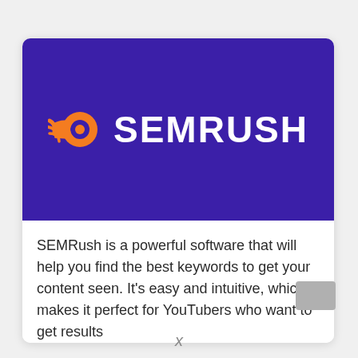[Figure (logo): SEMRush logo on dark purple background. Orange rocket/comet icon on the left followed by white bold text SEMRUSH.]
SEMRush is a powerful software that will help you find the best keywords to get your content seen. It's easy and intuitive, which makes it perfect for YouTubers who want to get results